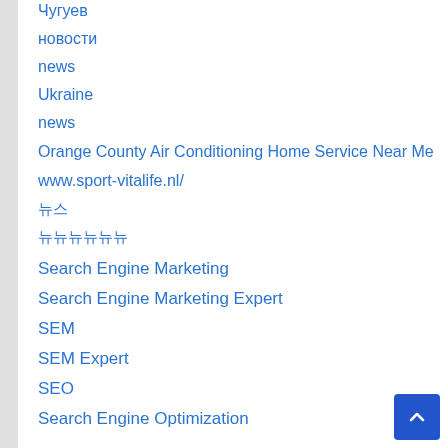Чугуев
новости
news
Ukraine
news
Orange County Air Conditioning Home Service Near Me
www.sport-vitalife.nl/
뉴스
뉴뉴뉴뉴뉴뉴
Search Engine Marketing
Search Engine Marketing Expert
SEM
SEM Expert
SEO
Search Engine Optimization